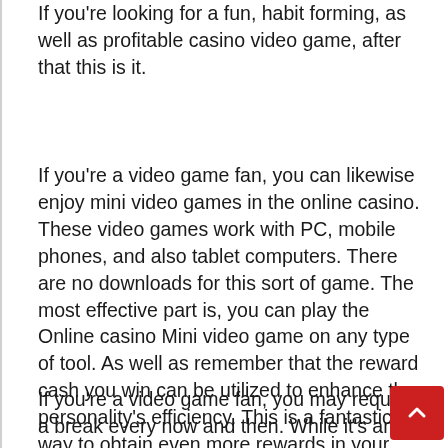If you're looking for a fun, habit forming, as well as profitable casino video game, after that this is it.
If you're a video game fan, you can likewise enjoy mini video games in the online casino. These video games work with PC, mobile phones, and also tablet computers. There are no downloads for this sort of game. The most effective part is, you can play the Online casino Mini video game on any type of tool. As well as remember that the reward cash you win can be utilized to enhance the personality's efficiency. This is a fantastic way to obtain even more rewards in your favourite video game.
If you're a video game fan, you may require a break every now and then. While it's an